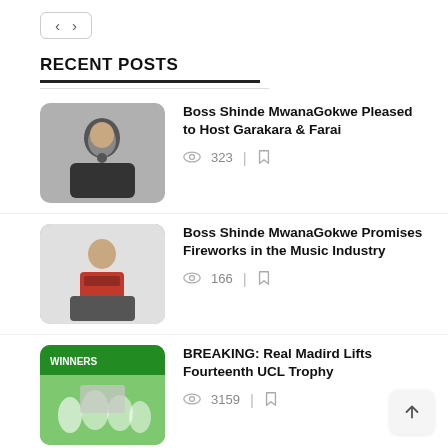< >
RECENT POSTS
Boss Shinde MwanaGokwe Pleased to Host Garakara & Farai | 323 views
Boss Shinde MwanaGokwe Promises Fireworks in the Music Industry | 166 views
BREAKING: Real Madird Lifts Fourteenth UCL Trophy | 3159 views